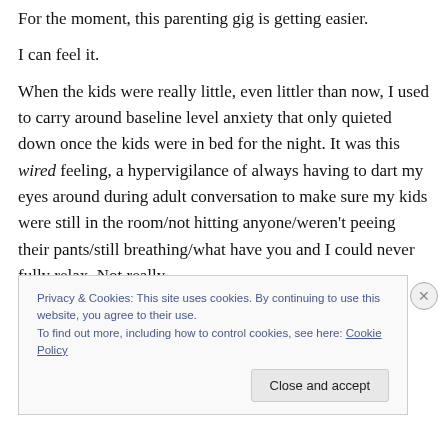For the moment, this parenting gig is getting easier.
I can feel it.
When the kids were really little, even littler than now, I used to carry around baseline level anxiety that only quieted down once the kids were in bed for the night. It was this wired feeling, a hypervigilance of always having to dart my eyes around during adult conversation to make sure my kids were still in the room/not hitting anyone/weren't peeing their pants/still breathing/what have you and I could never fully relax. Not really.
Privacy & Cookies: This site uses cookies. By continuing to use this website, you agree to their use.
To find out more, including how to control cookies, see here: Cookie Policy